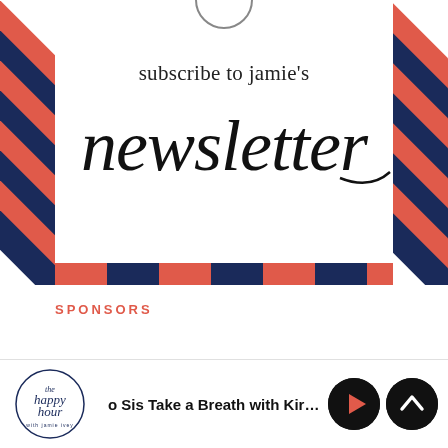[Figure (illustration): Newsletter subscription banner with airmail-style diagonal red and navy stripe borders on left, right and bottom edges. Center white area contains 'subscribe to jamie's' in serif text and 'newsletter' in large decorative script handwriting. A partial circular logo/icon is visible at top center.]
SPONSORS
[Figure (logo): The Happy Hour with Jamie Ivey podcast logo — decorative script text in dark ink]
o Sis Take a Breath with Kirsten Wats
[Figure (other): Play button (triangle in circle, black background with coral/orange triangle) and Up/chevron button (black circle with white chevron up arrow)]